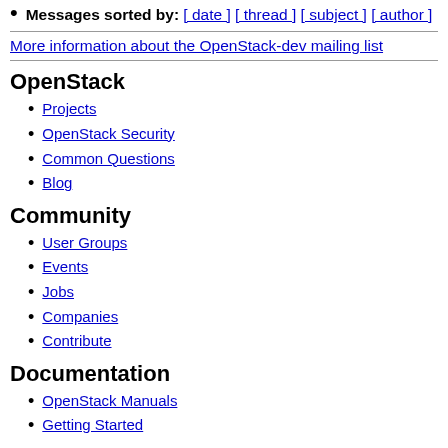Messages sorted by: [ date ] [ thread ] [ subject ] [ author ]
More information about the OpenStack-dev mailing list
OpenStack
Projects
OpenStack Security
Common Questions
Blog
Community
User Groups
Events
Jobs
Companies
Contribute
Documentation
OpenStack Manuals
Getting Started